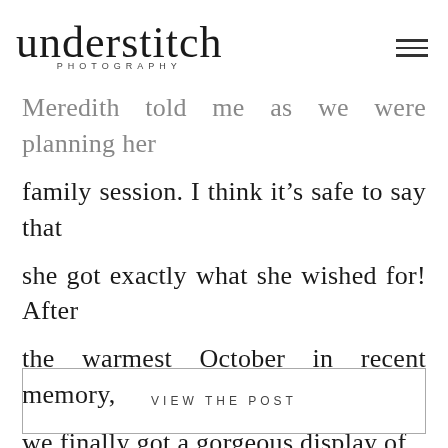understitch PHOTOGRAPHY
Meredith told me as we were planning her family session. I think it’s safe to say that she got exactly what she wished for! After the warmest October in recent memory, we finally got a gorgeous display of
VIEW THE POST